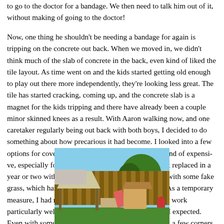to go to the doctor for a bandage. We then need to talk him out of it, without making of going to the doctor!
Now, one thing he shouldn't be needing a bandage for again is tripping on the concrete out back. When we moved in, we didn't think much of the slab of concrete in the back, even kind of liked the tile layout. As time went on and the kids started getting old enough to play out there more independently, they're looking less great. The tile has started cracking, coming up, and the concrete slab is a magnet for the kids tripping and there have already been a couple minor skinned knees as a result. With Aaron walking now, and one caretaker regularly being out back with both boys, I decided to do something about how precarious it had become. I looked into a few options for covering it all, but it was all coming up kind of expensive, especially for a back yard area that we hope to get replaced in a year or two with a larger remodel. I landed on going with some fake grass, which has the price sweet spot of 6 segments. As a temporary measure, I had no illusions that it would look good or work particularly well, but it actually came out better than I expected. Even with some wind recently, I had to go out and fix a few corners, but it was easy and quick to do and it stayed fine. Plus, it works, no injuries! And it's made the whole back yard a more pleasant p
[Figure (photo): A backyard photo showing a wooden fence, a gazebo/canopy structure, children's play equipment including a slide and playhouse, trees, and a child in the background.]